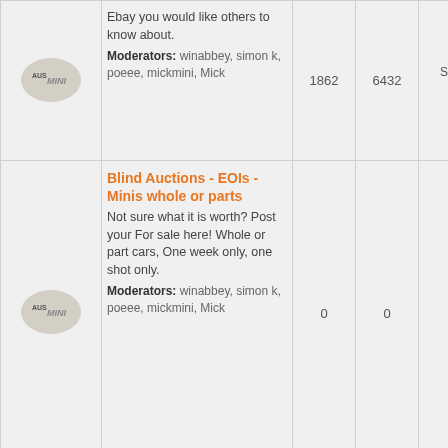| Icon | Forum | Topics | Posts | Last Post |
| --- | --- | --- | --- | --- |
| [ausmini logo] | Ebay you would like others to know about.
Moderators: winabbey, simon k, poeee, mickmini, Mick | 1862 | 6432 | Sat Jun 25, 2022 6:...
BBY755 → |
| [ausmini logo] | Blind Auctions - EOIs - Minis whole or parts
Not sure what it is worth? Post your For sale here! Whole or part cars, One week only, one shot only.
Moderators: winabbey, simon k, poeee, mickmini, Mick | 0 | 0 | No posts |
| [ausmini logo] | Other For Sale/Wanted
Non-Mini Tradingpost.
Moderators: winabbey, | 1924 | 6864 | Thu Feb 03, 2022 8:...
lomin → |